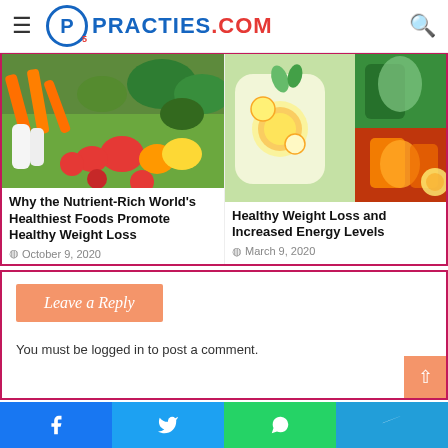PRACTIES.COM
[Figure (photo): Colorful fresh vegetables including carrots, peppers, tomatoes, and greens]
Why the Nutrient-Rich World's Healthiest Foods Promote Healthy Weight Loss
October 9, 2020
[Figure (photo): Healthy drinks including lemon infused water and colorful fruit juices]
Healthy Weight Loss and Increased Energy Levels
March 9, 2020
Leave a Reply
You must be logged in to post a comment.